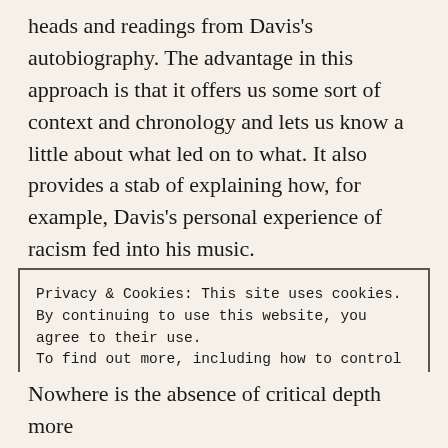heads and readings from Davis's autobiography. The advantage in this approach is that it offers us some sort of context and chronology and lets us know a little about what led on to what. It also provides a stab of explaining how, for example, Davis's personal experience of racism fed into his music.
And yet it often feels like reading a shopping list.
Privacy & Cookies: This site uses cookies. By continuing to use this website, you agree to their use. To find out more, including how to control cookies, see here: Cookie Policy
Close and accept
Nowhere is the absence of critical depth more